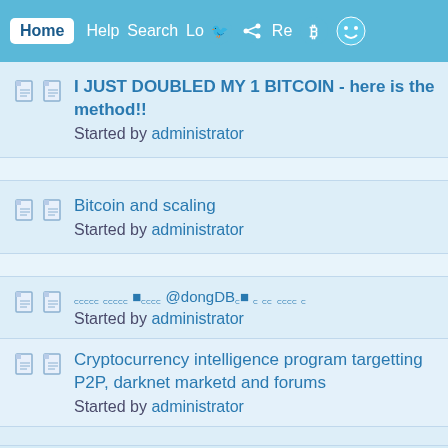Home  Help  Search  Login  Register
I JUST DOUBLED MY 1 BITCOIN - here is the method!!
Started by administrator
Bitcoin and scaling
Started by administrator
ꀀꀀꀀꀀꀀ ꀀꀀꀀꀀꀀ ■ꀀꀀꀀꀀ @dongDB꜀■ ꀀ ꀀꀀ ꀀꀀꀀꀀ ꀀ
Started by administrator
Cryptocurrency intelligence program targetting P2P, darknet marketd and forums
Started by administrator